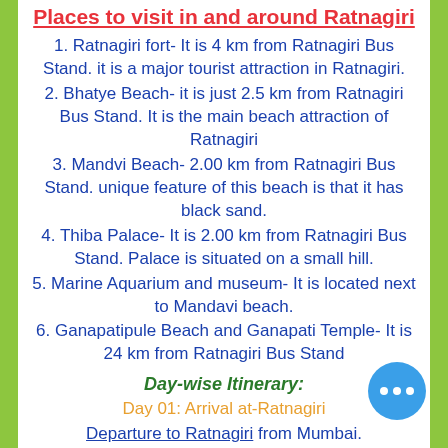Places to visit in and around Ratnagiri
1. Ratnagiri fort- It is 4 km from Ratnagiri Bus Stand. it is a major tourist attraction in Ratnagiri.
2. Bhatye Beach- it is just 2.5 km from Ratnagiri Bus Stand. It is the main beach attraction of Ratnagiri
3. Mandvi Beach- 2.00 km from Ratnagiri Bus Stand. unique feature of this beach is that it has black sand.
4. Thiba Palace- It is 2.00 km from Ratnagiri Bus Stand. Palace is situated on a small hill.
5. Marine Aquarium and museum- It is located next to Mandavi beach.
6. Ganapatipule Beach and Ganapati Temple- It is 24 km from Ratnagiri Bus Stand
Day-wise Itinerary:
Day 01: Arrival at-Ratnagiri
Departure to Ratnagiri from Mumbai.
Mumbai to Ratnagiri distance is 350 km and